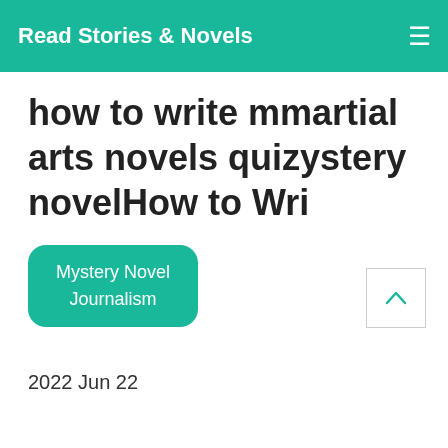Read Stories & Novels
how to write mmartial arts novels quizystery novelHow to Wri
Mystery Novel
Journalism
2022 Jun 22